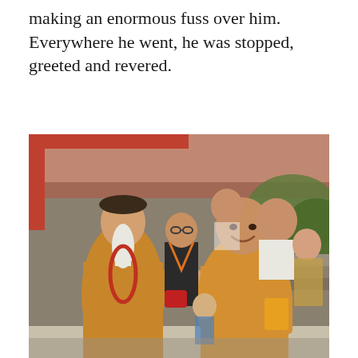making an enormous fuss over him. Everywhere he went, he was stopped, greeted and revered.
[Figure (photo): Two Buddhist monks in saffron yellow robes walking together. The monk on the left is elderly with a long white beard, wearing a dark hat and red prayer bead necklace. The monk on the right is younger and taller, smiling. Several people are visible in the background, including a woman in a black turtleneck with glasses and an orange lanyard.]